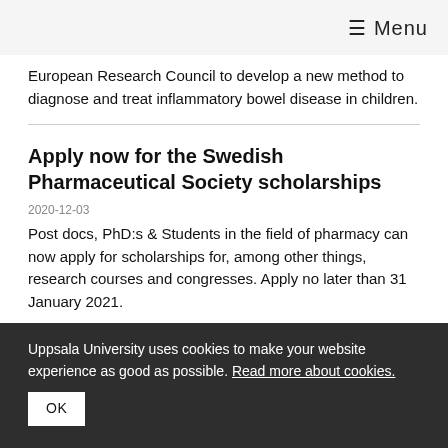≡ Menu
European Research Council to develop a new method to diagnose and treat inflammatory bowel disease in children.
Apply now for the Swedish Pharmaceutical Society scholarships
2020-12-03
Post docs, PhD:s & Students in the field of pharmacy can now apply for scholarships for, among other things, research courses and congresses. Apply no later than 31 January 2021.
Uppsala University uses cookies to make your website experience as good as possible. Read more about cookies.